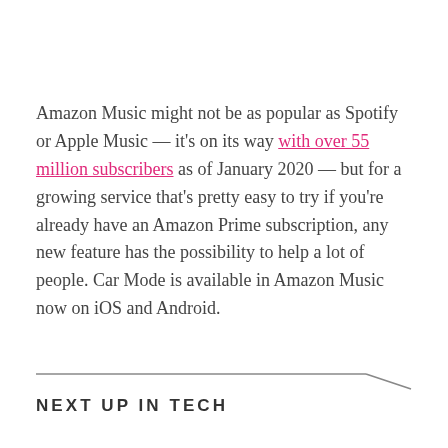Amazon Music might not be as popular as Spotify or Apple Music — it's on its way with over 55 million subscribers as of January 2020 — but for a growing service that's pretty easy to try if you're already have an Amazon Prime subscription, any new feature has the possibility to help a lot of people. Car Mode is available in Amazon Music now on iOS and Android.
NEXT UP IN TECH